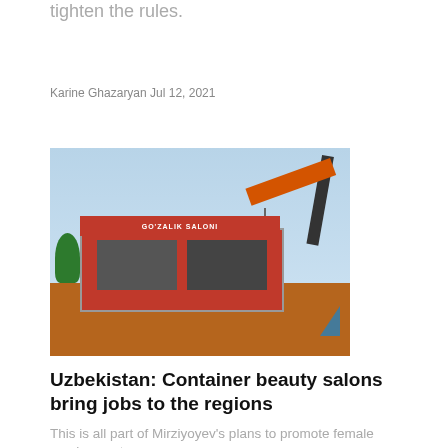…causes/causing Yerevan to complain and Yerevan to tighten the rules.
Karine Ghazaryan Jul 12, 2021
[Figure (photo): A crane lifting a container-style beauty salon building, with red signage reading 'go'ralik saloni', set against a blue sky with other shop units visible below]
Uzbekistan: Container beauty salons bring jobs to the regions
This is all part of Mirziyoyev's plans to promote female employment.
Jun 16, 2021